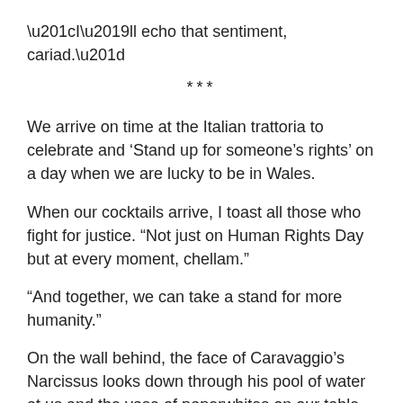“I’ll echo that sentiment, cariad.”
***
We arrive on time at the Italian trattoria to celebrate and ‘Stand up for someone’s rights’ on a day when we are lucky to be in Wales.
When our cocktails arrive, I toast all those who fight for justice. “Not just on Human Rights Day but at every moment, chellam.”
“And together, we can take a stand for more humanity.”
On the wall behind, the face of Caravaggio’s Narcissus looks down through his pool of water at us and the vase of paperwhites on our table.